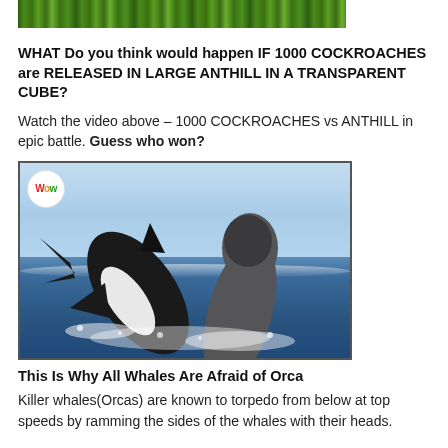[Figure (photo): Top strip showing green vegetation/foliage background image]
WHAT Do you think would happen IF 1000 COCKROACHES are RELEASED IN LARGE ANTHILL IN A TRANSPARENT CUBE?
Watch the video above – 1000 COCKROACHES vs ANTHILL in epic battle. Guess who won?
[Figure (photo): Photo of killer whale (orca) leaping out of ocean water next to another large whale, with a 'Wow' badge logo in the top-left corner]
This Is Why All Whales Are Afraid of Orca
Killer whales(Orcas) are known to torpedo from below at top speeds by ramming the sides of the whales with their heads.